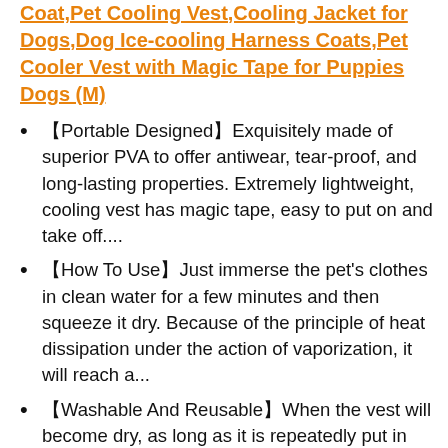Coat,Pet Cooling Vest,Cooling Jacket for Dogs,Dog Ice-cooling Harness Coats,Pet Cooler Vest with Magic Tape for Puppies Dogs (M)
【Portable Designed】Exquisitely made of superior PVA to offer antiwear, tear-proof, and long-lasting properties. Extremely lightweight, cooling vest has magic tape, easy to put on and take off....
【How To Use】Just immerse the pet's clothes in clean water for a few minutes and then squeeze it dry. Because of the principle of heat dissipation under the action of vaporization, it will reach a...
【Washable And Reusable】When the vest will become dry, as long as it is repeatedly put in water, soaked in water, wringed dry, and reused, the cool feeling can be restored. The pet cooling vest